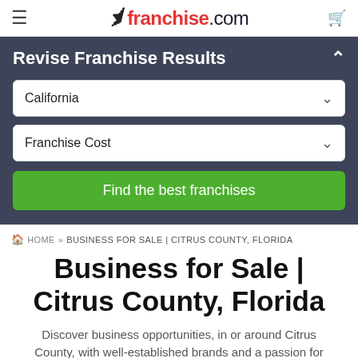≡  franchise.com  🛒
Revise Franchise Results
California
Franchise Cost
Find the best franchises
🏠 HOME » BUSINESS FOR SALE | CITRUS COUNTY, FLORIDA
Business for Sale | Citrus County, Florida
Discover business opportunities, in or around Citrus County, with well-established brands and a passion for...